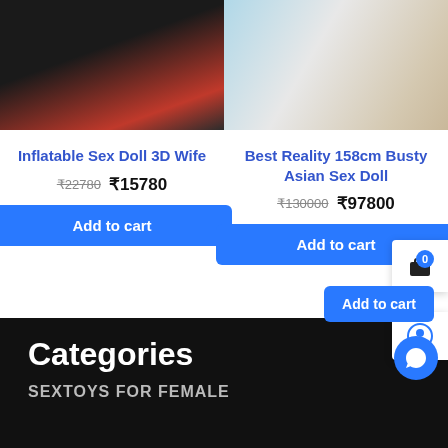[Figure (photo): Product photo of a person with red/black hair on left side]
[Figure (photo): Product photo showing a person in light blue lingerie on right side]
Inflatable Sex Doll 3D Wife
₹22780 ₹15780
Add to cart
Best Reality 158cm Busty Asian Sex Doll
₹130000 ₹97800
Add to cart
Categories
SEXTOYS FOR FEMALE